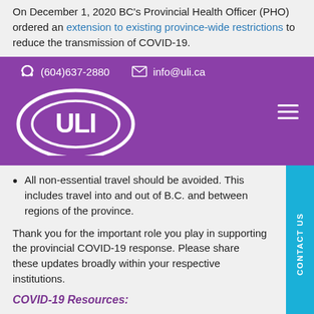On December 1, 2020 BC's Provincial Health Officer (PHO) ordered an extension to existing province-wide restrictions to reduce the transmission of COVID-19.
[Figure (logo): ULI (Urban Land Institute) website header banner in purple with contact info (604)637-2880 and info@uli.ca, ULI logo, and hamburger menu icon]
All non-essential travel should be avoided. This includes travel into and out of B.C. and between regions of the province.
Thank you for the important role you play in supporting the provincial COVID-19 response. Please share these updates broadly within your respective institutions.
COVID-19 Resources: